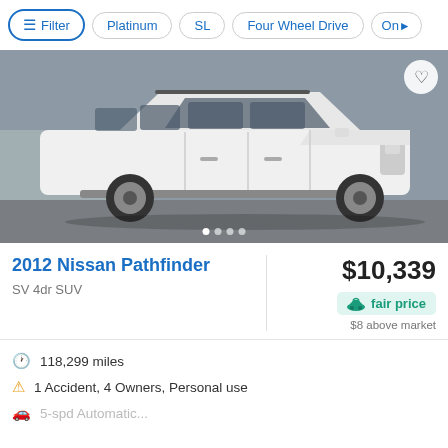Filter | Platinum | SL | Four Wheel Drive | On>
[Figure (photo): White 2012 Nissan Pathfinder SUV parked in front of a gray wall, side/front 3/4 view]
2012 Nissan Pathfinder
SV 4dr SUV
$10,339
fair price
$8 above market
118,299 miles
1 Accident, 4 Owners, Personal use